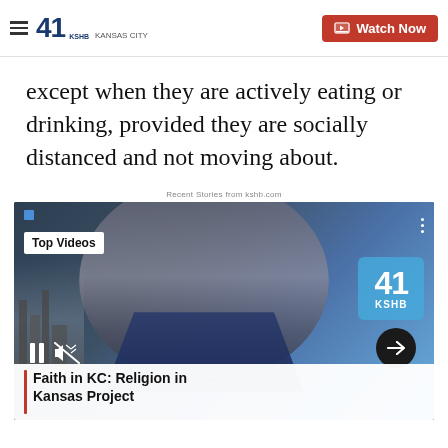41 KSHB KANSAS CITY — Watch Now
except when they are actively eating or drinking, provided they are socially distanced and not moving about.
Recent Stories from kshb.com
[Figure (screenshot): KSHB 41 Kansas City news anchor in studio, with 'Top Videos' badge, playback controls, KSHB logo overlay, and caption 'Faith in KC: Religion in Kansas Project']
Faith in KC: Religion in Kansas Project